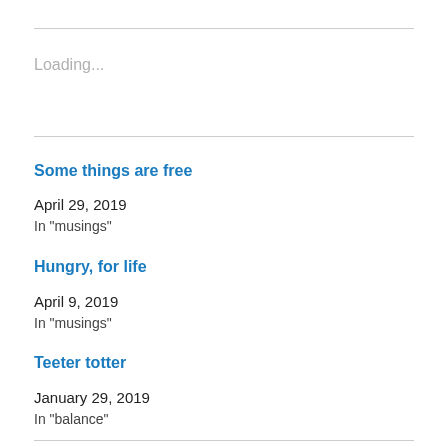Loading...
Some things are free
April 29, 2019
In "musings"
Hungry, for life
April 9, 2019
In "musings"
Teeter totter
January 29, 2019
In "balance"